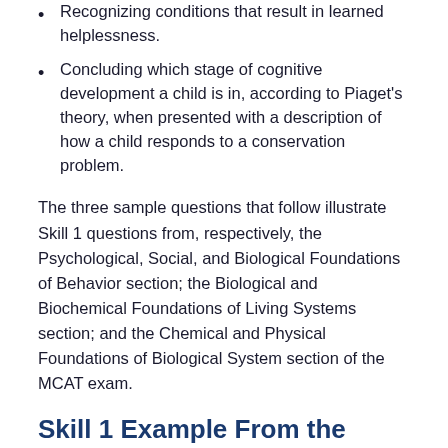Recognizing conditions that result in learned helplessness.
Concluding which stage of cognitive development a child is in, according to Piaget's theory, when presented with a description of how a child responds to a conservation problem.
The three sample questions that follow illustrate Skill 1 questions from, respectively, the Psychological, Social, and Biological Foundations of Behavior section; the Biological and Biochemical Foundations of Living Systems section; and the Chemical and Physical Foundations of Biological System section of the MCAT exam.
Skill 1 Example From the Psychological, Social, and Biological Foundations of Behavior Section